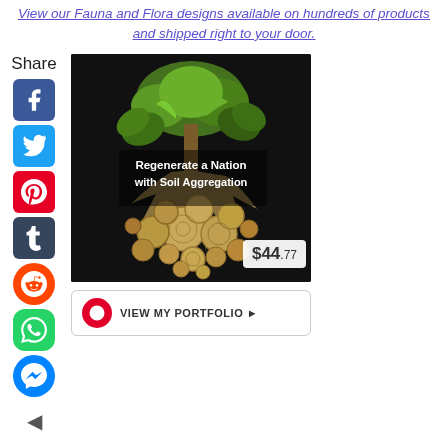View our Fauna and Flora designs available on hundreds of products and shipped right to your door.
[Figure (illustration): Product image showing a tree with roots forming into circular wood cross-sections. Text overlay reads 'Regenerate a Nation with Soil Aggregation'. Price badge shows $44.77.]
VIEW MY PORTFOLIO ▶
Top 10 Recipes of July 2017